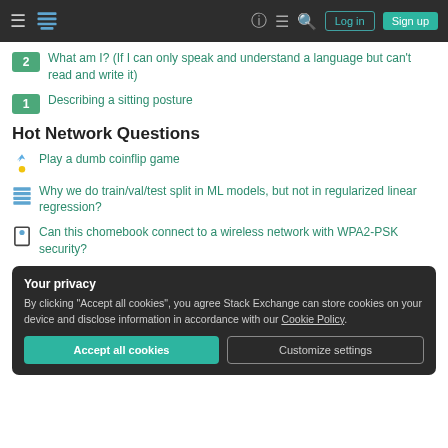Stack Exchange navigation bar with Log in and Sign up buttons
2 — What am I? (If I can only speak and understand a language but can't read and write it)
1 — Describing a sitting posture
Hot Network Questions
Play a dumb coinflip game
Why we do train/val/test split in ML models, but not in regularized linear regression?
Can this chomebook connect to a wireless network with WPA2-PSK security?
Your privacy
By clicking "Accept all cookies", you agree Stack Exchange can store cookies on your device and disclose information in accordance with our Cookie Policy.